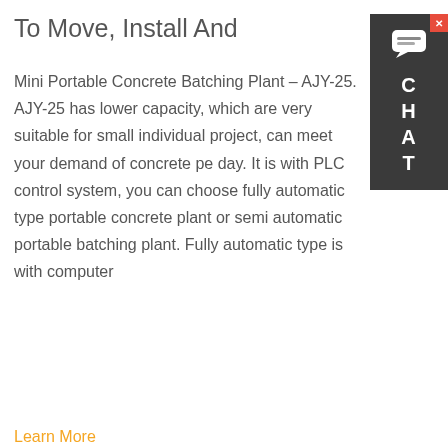To Move, Install And
Mini Portable Concrete Batching Plant – AJY-25. AJY-25 has lower capacity, which are very suitable for small individual project, can meet your demand of concrete pe day. It is with PLC control system, you can choose fully automatic type portable concrete plant or semi automatic portable batching plant. Fully automatic type is with computer
Learn More
[Figure (photo): A mini portable concrete batching plant (AJY-25) showing blue steel frame structure with conveyor belt, orange mixer drum on a truck, cylindrical cement silo, and construction site background under blue sky. A chat popup overlay reads: Hey, we are live 24/7. How may I help you?]